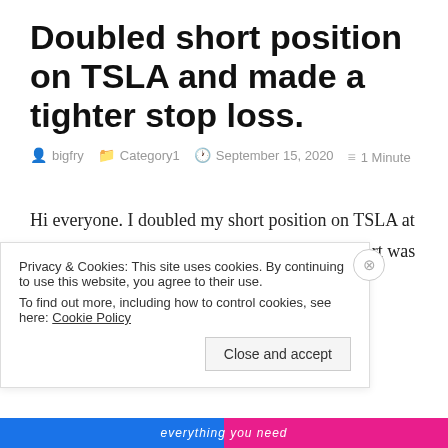Doubled short position on TSLA and made a tighter stop loss.
bigfry   Category1   September 15, 2020   1 Minute
Hi everyone. I doubled my short position on TSLA at 450 today. My original stop loss on the 487 short was at
Privacy & Cookies: This site uses cookies. By continuing to use this website, you agree to their use.
To find out more, including how to control cookies, see here: Cookie Policy
Close and accept
everything you need